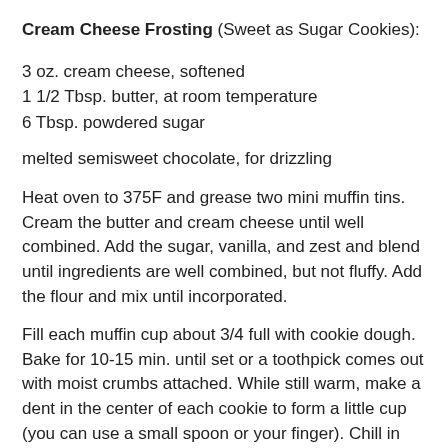Cream Cheese Frosting (Sweet as Sugar Cookies):
3 oz. cream cheese, softened
1 1/2 Tbsp. butter, at room temperature
6 Tbsp. powdered sugar
melted semisweet chocolate, for drizzling
Heat oven to 375F and grease two mini muffin tins. Cream the butter and cream cheese until well combined. Add the sugar, vanilla, and zest and blend until ingredients are well combined, but not fluffy. Add the flour and mix until incorporated.
Fill each muffin cup about 3/4 full with cookie dough. Bake for 10-15 min. until set or a toothpick comes out with moist crumbs attached. While still warm, make a dent in the center of each cookie to form a little cup (you can use a small spoon or your finger). Chill in the fridge for 30-60 min. until completely cold. Remove from the muffin tins.
Cream the butter and cream cheese together. Add the